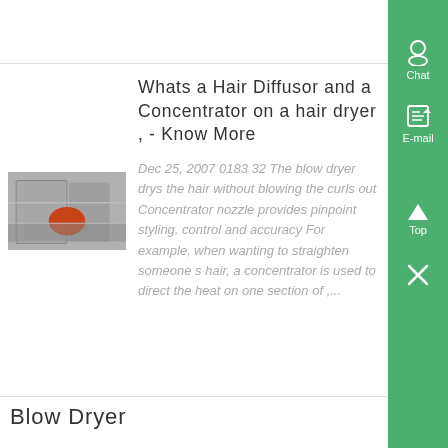Whats a Hair Diffusor and a Concentrator on a hair dryer , - Know More
[Figure (photo): Thumbnail photo showing hair dryer equipment, industrial-looking, with reddish element visible]
Dec 25, 2007 0183 32 The blow dryer drys the hair without blowing the curls out Concentrator nozzle provides pinpoint styling, control and accuracy For example, when wanting to straighten someone s hair, a concentrator is used to direct the heat on one section of ,...
Blow Dryer